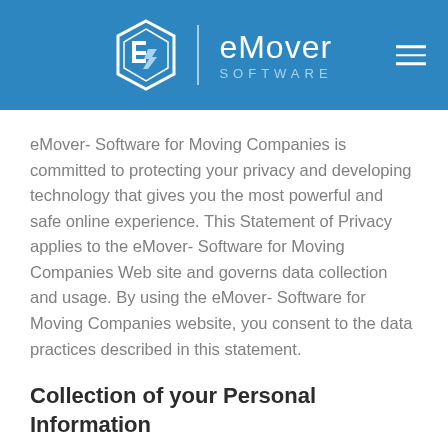[Figure (logo): eMover Software logo — white hexagonal icon with 'ES' monogram, vertical divider, 'eMover' wordmark and 'SOFTWARE' subtitle in white on blue background, hamburger menu icon top right]
eMover- Software for Moving Companies is committed to protecting your privacy and developing technology that gives you the most powerful and safe online experience. This Statement of Privacy applies to the eMover- Software for Moving Companies Web site and governs data collection and usage. By using the eMover- Software for Moving Companies website, you consent to the data practices described in this statement.
Collection of your Personal Information